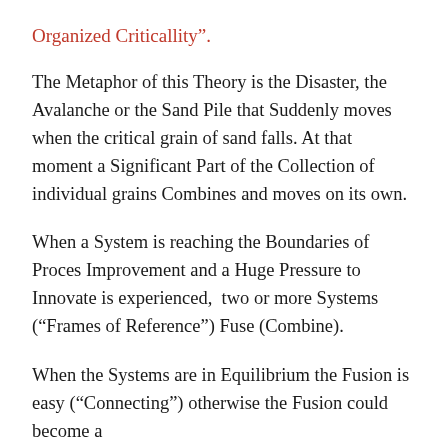Organized Criticallity”.
The Metaphor of this Theory is the Disaster, the Avalanche or the Sand Pile that Suddenly moves when the critical grain of sand falls. At that moment a Significant Part of the Collection of individual grains Combines and moves on its own.
When a System is reaching the Boundaries of Proces Improvement and a Huge Pressure to Innovate is experienced,  two or more Systems (“Frames of Reference”) Fuse (Combine).
When the Systems are in Equilibrium the Fusion is easy (“Connecting”) otherwise the Fusion could become a